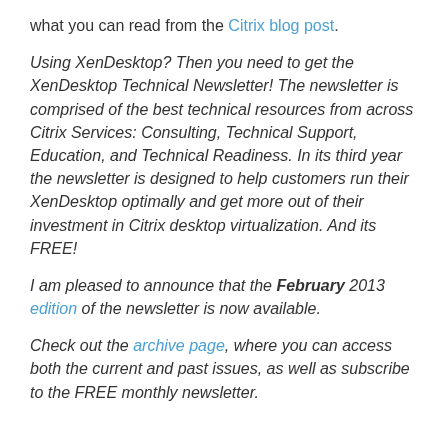what you can read from the Citrix blog post.
Using XenDesktop? Then you need to get the XenDesktop Technical Newsletter! The newsletter is comprised of the best technical resources from across Citrix Services: Consulting, Technical Support, Education, and Technical Readiness. In its third year the newsletter is designed to help customers run their XenDesktop optimally and get more out of their investment in Citrix desktop virtualization. And its FREE!
I am pleased to announce that the February 2013 edition of the newsletter is now available.
Check out the archive page, where you can access both the current and past issues, as well as subscribe to the FREE monthly newsletter.